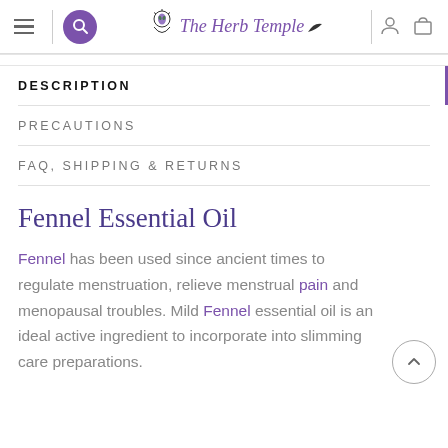The Herb Temple
DESCRIPTION
PRECAUTIONS
FAQ, SHIPPING & RETURNS
Fennel Essential Oil
Fennel has been used since ancient times to regulate menstruation, relieve menstrual pain and menopausal troubles. Mild Fennel essential oil is an ideal active ingredient to incorporate into slimming care preparations.